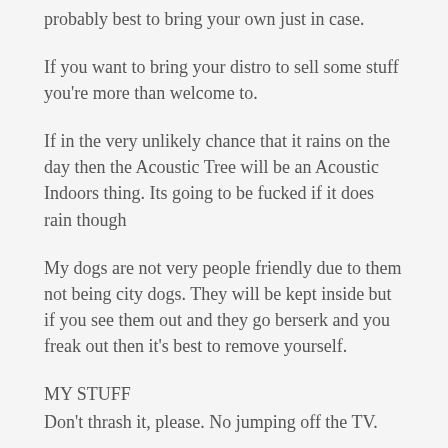probably best to bring your own just in case.
If you want to bring your distro to sell some stuff you're more than welcome to.
If in the very unlikely chance that it rains on the day then the Acoustic Tree will be an Acoustic Indoors thing. Its going to be fucked if it does rain though
My dogs are not very people friendly due to them not being city dogs. They will be kept inside but if you see them out and they go berserk and you freak out then it's best to remove yourself.
MY STUFF
Don't thrash it, please. No jumping off the TV.